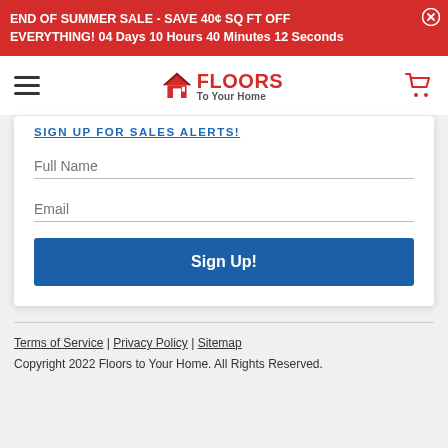END OF SUMMER SALE - SAVE 40¢ SQ FT OFF EVERYTHING! 04 Days 10 Hours 40 Minutes 12 Seconds
[Figure (logo): Floors To Your Home logo with house icon, hamburger menu, and cart icon in a white navigation bar]
SIGN UP FOR SALES ALERTS!
Full Name
Email
Sign Up!
Terms of Service | Privacy Policy | Sitemap
Copyright 2022 Floors to Your Home. All Rights Reserved.